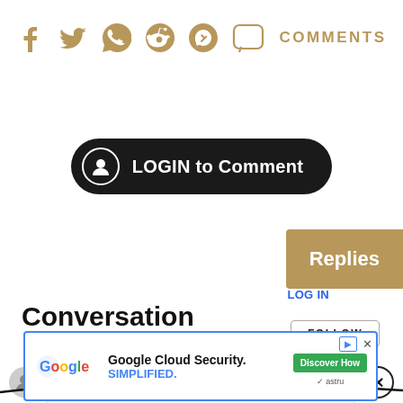[Figure (screenshot): Social sharing icon bar with Facebook, Twitter, WhatsApp, Reddit, Pinterest, comment bubble icons in gold/tan color, followed by COMMENTS label]
[Figure (screenshot): Black pill-shaped LOGIN to Comment button with user avatar icon on left]
Replies
LOG IN
Conversation
[Figure (screenshot): FOLLOW button with border]
Start the conversation
[Figure (screenshot): Google Cloud Security advertisement banner: Google logo, 'Google Cloud Security. SIMPLIFIED.' text, Discover How button, close X button, Astru badge]